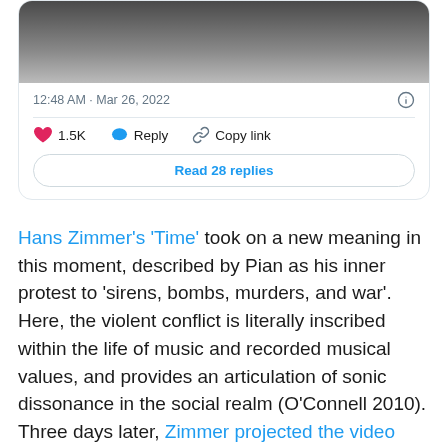[Figure (screenshot): Twitter/X tweet card showing a blurred image thumbnail, timestamp '12:48 AM · Mar 26, 2022', an info icon, a horizontal divider, action buttons (heart 1.5K, Reply, Copy link), and a 'Read 28 replies' button.]
Hans Zimmer's 'Time' took on a new meaning in this moment, described by Pian as his inner protest to 'sirens, bombs, murders, and war'. Here, the violent conflict is literally inscribed within the life of music and recorded musical values, and provides an articulation of sonic dissonance in the social realm (O'Connell 2010). Three days later, Zimmer projected the video during his London concert as an act of solidarity. The sirens heard in this clip have become a daily soundtrack to urban life in Ukraine,